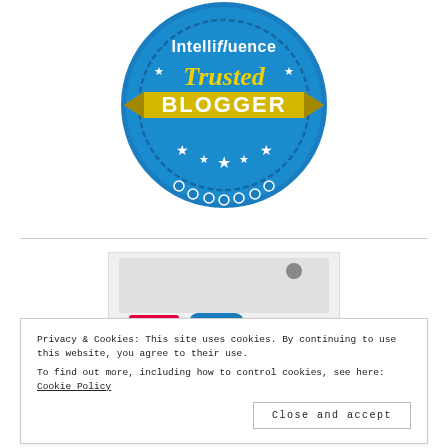[Figure (logo): Intellifluence Trusted Blogger badge — circular blue badge with white text 'Intellifluence' at top, italic gold script 'Trusted' below, a gold/yellow ribbon banner across the middle with bold white text 'BLOGGER', white stars on the blue circle, decorative scalloped edge at bottom of the circle.]
[Figure (screenshot): Partially visible screenshot of a website with a light grey framed image and colorful logos at the bottom.]
Privacy & Cookies: This site uses cookies. By continuing to use this website, you agree to their use.
To find out more, including how to control cookies, see here: Cookie Policy
Close and accept